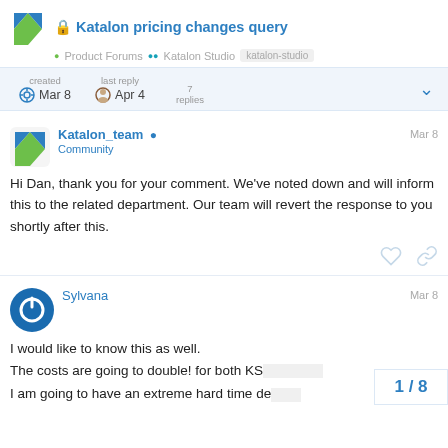Katalon pricing changes query — Product Forums • Katalon Studio • katalon-studio
created Mar 8   last reply Apr 4   7 replies
Katalon_team ✓ Community   Mar 8
Hi Dan, thank you for your comment. We've noted down and will inform this to the related department. Our team will revert the response to you shortly after this.
Sylvana   Mar 8
I would like to know this as well.
The costs are going to double! for both KS[T] and [KRE]
I am going to have an extreme hard time de[ciding]
1 / 8